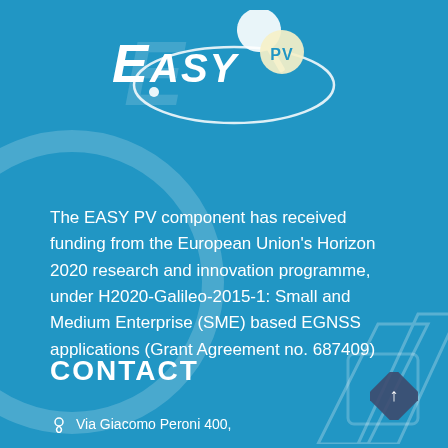[Figure (logo): EASY PV logo with satellite dish and orbit ellipse on blue background]
The EASY PV component has received funding from the European Union's Horizon 2020 research and innovation programme, under H2020-Galileo-2015-1: Small and Medium Enterprise (SME) based EGNSS applications (Grant Agreement no. 687409)
CONTACT
Via Giacomo Peroni 400,